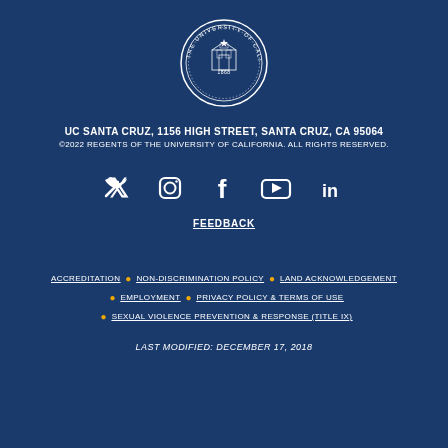[Figure (logo): University of California seal/logo in white on dark blue background]
UC SANTA CRUZ, 1156 HIGH STREET, SANTA CRUZ, CA 95064
©2022 REGENTS OF THE UNIVERSITY OF CALIFORNIA. ALL RIGHTS RESERVED.
[Figure (other): Social media icons: Twitter, Instagram, Facebook, YouTube, LinkedIn]
FEEDBACK
ACCREDITATION • NON-DISCRIMINATION POLICY • LAND ACKNOWLEDGEMENT • EMPLOYMENT • PRIVACY POLICY & TERMS OF USE • SEXUAL VIOLENCE PREVENTION & RESPONSE (TITLE IX)
LAST MODIFIED: DECEMBER 17, 2018